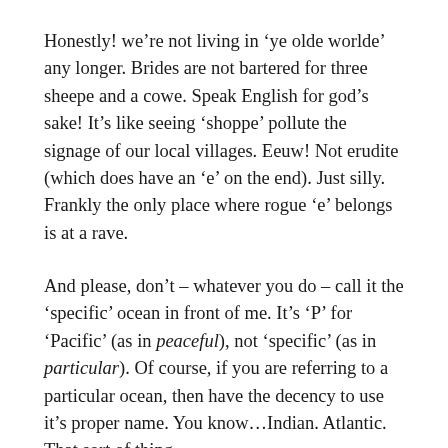Honestly! we’re not living in ‘ye olde worlde’ any longer. Brides are not bartered for three sheepe and a cowe. Speak English for god’s sake! It’s like seeing ‘shoppe’ pollute the signage of our local villages. Eeuw! Not erudite (which does have an ‘e’ on the end). Just silly. Frankly the only place where rogue ‘e’ belongs is at a rave.
And please, don’t – whatever you do – call it the ‘specific’ ocean in front of me. It’s ‘P’ for ‘Pacific’ (as in peaceful), not ‘specific’ (as in particular). Of course, if you are referring to a particular ocean, then have the decency to use it’s proper name. You know…Indian. Atlantic. That sort of thing.